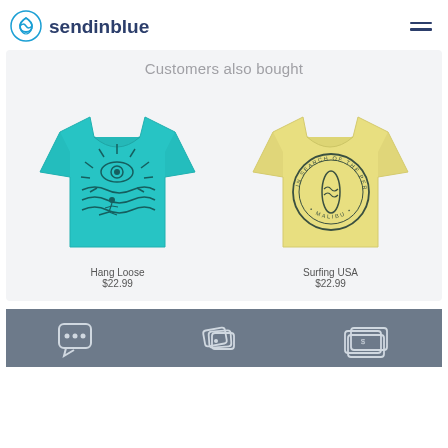sendinblue
Customers also bought
[Figure (illustration): Teal t-shirt with surfer and eye/sun graphic design]
Hang Loose
$22.99
[Figure (illustration): Yellow t-shirt with circular surfboard badge 'In Search of the Perfect Wave - Malibu']
Surfing USA
$22.99
Footer with chat, tags, and money icons